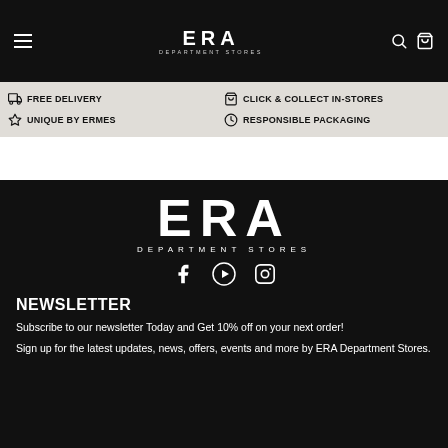ERA Department Stores navigation bar
[Figure (logo): ERA Department Stores logo in navigation bar - white text on black background]
FREE DELIVERY   CLICK & COLLECT IN-STORES   UNIQUE BY ERMES   RESPONSIBLE PACKAGING
[Figure (logo): ERA Department Stores large logo - white text on black background with DEPARTMENT STORES subtitle]
[Figure (infographic): Social media icons: Facebook, YouTube, Instagram]
NEWSLETTER
Subscribe to our newsletter Today and Get 10% off on your next order!
Sign up for the latest updates, news, offers, events and more by ERA Department Stores.